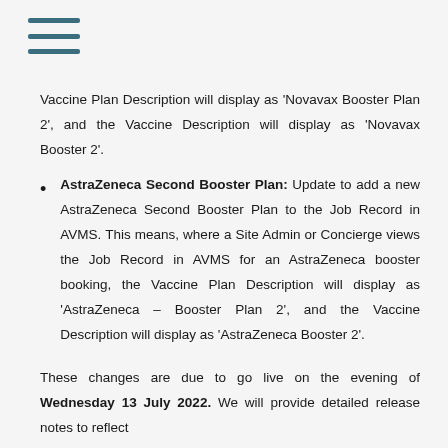≡ (menu icon)
Vaccine Plan Description will display as 'Novavax Booster Plan 2', and the Vaccine Description will display as 'Novavax Booster 2'.
AstraZeneca Second Booster Plan: Update to add a new AstraZeneca Second Booster Plan to the Job Record in AVMS. This means, where a Site Admin or Concierge views the Job Record in AVMS for an AstraZeneca booster booking, the Vaccine Plan Description will display as 'AstraZeneca – Booster Plan 2', and the Vaccine Description will display as 'AstraZeneca Booster 2'.
These changes are due to go live on the evening of Wednesday 13 July 2022. We will provide detailed release notes to reflect